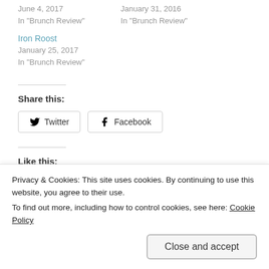June 4, 2017
In "Brunch Review"
January 31, 2016
In "Brunch Review"
Iron Roost
January 25, 2017
In "Brunch Review"
Share this:
Twitter  Facebook
Like this:
Privacy & Cookies: This site uses cookies. By continuing to use this website, you agree to their use.
To find out more, including how to control cookies, see here: Cookie Policy
Close and accept